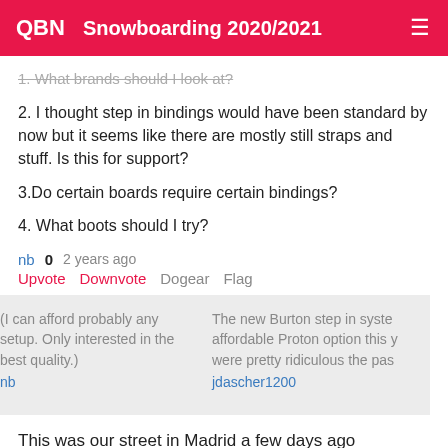QBN Snowboarding 2020/2021
1. What brands should I look at?
2. I thought step in bindings would have been standard by now but it seems like there are mostly still straps and stuff. Is this for support?
3.Do certain boards require certain bindings?
4. What boots should I try?
nb 0 2 years ago
Upvote Downvote Dogear Flag
(I can afford probably any setup. Only interested in the best quality.) nb
The new Burton step in syste affordable Proton option this y were pretty ridiculous the pas jdascher1200
This was our street in Madrid a few days ago
https://imgur.com/03goQ98
Chimp 0 2 years ago
Upvote Downvote Dogear Flag